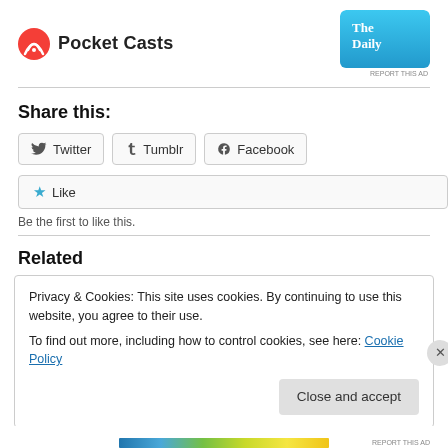[Figure (logo): Pocket Casts logo with circular icon and bold text 'Pocket Casts']
[Figure (illustration): The Daily podcast ad badge, blue gradient with white text]
Share this:
Twitter  Tumblr  Facebook
Like
Be the first to like this.
Related
Privacy & Cookies: This site uses cookies. By continuing to use this website, you agree to their use.
To find out more, including how to control cookies, see here: Cookie Policy
Close and accept